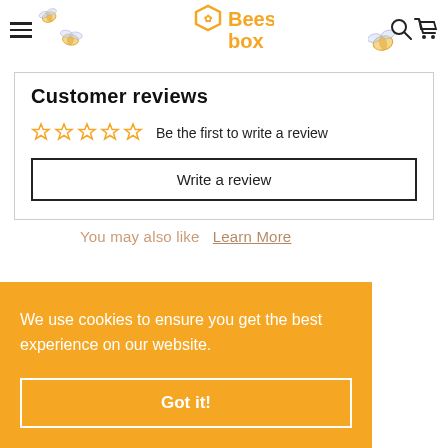Beesy box - navigation header with hamburger menu, logo, search and cart icons
Customer reviews
Be the first to write a review
Write a review
We use cookies to ensure you get the best experience on our website.
You may also like   Learn More
Got it!